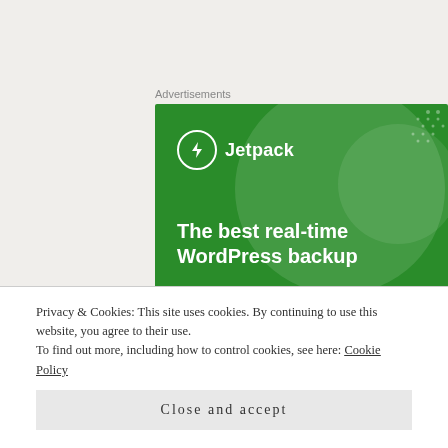Advertisements
[Figure (illustration): Jetpack advertisement banner with green background, circular decorative shapes, Jetpack logo (lightning bolt icon) and text 'The best real-time WordPress backup']
Dear – I don't listen to a lot of old K-Pop stuff very often, especially girl groups, but this sounds like
Privacy & Cookies: This site uses cookies. By continuing to use this website, you agree to their use.
To find out more, including how to control cookies, see here: Cookie Policy
Close and accept